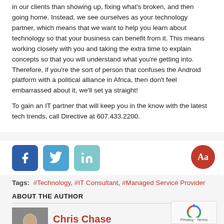in our clients than showing up, fixing what's broken, and then going home. Instead, we see ourselves as your technology partner, which means that we want to help you learn about technology so that your business can benefit from it. This means working closely with you and taking the extra time to explain concepts so that you will understand what you're getting into. Therefore, if you're the sort of person that confuses the Android platform with a political alliance in Africa, then don't feel embarrassed about it, we'll set ya straight!
To gain an IT partner that will keep you in the know with the latest tech trends, call Directive at 607.433.2200.
[Figure (other): Social share buttons: Facebook, Twitter, LinkedIn, and an Aa (font size) button]
Tags:  #Technology, #IT Consultant, #Managed Service Provider
ABOUT THE AUTHOR
[Figure (photo): Author photo of Chris Chase]
Chris Chase